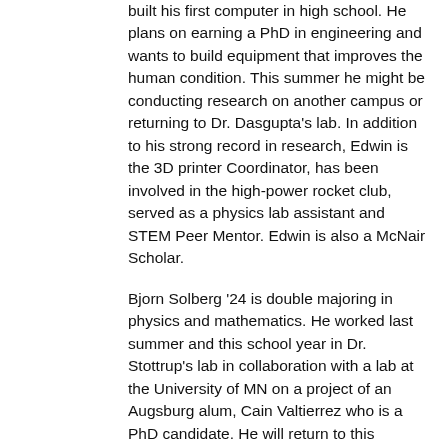built his first computer in high school. He plans on earning a PhD in engineering and wants to build equipment that improves the human condition. This summer he might be conducting research on another campus or returning to Dr. Dasgupta's lab. In addition to his strong record in research, Edwin is the 3D printer Coordinator, has been involved in the high-power rocket club, served as a physics lab assistant and STEM Peer Mentor. Edwin is also a McNair Scholar.
Bjorn Solberg '24 is double majoring in physics and mathematics. He worked last summer and this school year in Dr. Stottrup's lab in collaboration with a lab at the University of MN on a project of an Augsburg alum, Cain Valtierrez who is a PhD candidate. He will return to this position this summer. From a young age Bjorn has read popular science magazines, watched Nova specials and first learned about quantum mechanics and